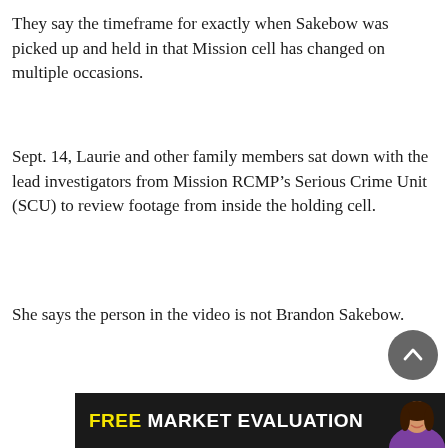They say the timeframe for exactly when Sakebow was picked up and held in that Mission cell has changed on multiple occasions.
Sept. 14, Laurie and other family members sat down with the lead investigators from Mission RCMP’s Serious Crime Unit (SCU) to review footage from inside the holding cell.
She says the person in the video is not Brandon Sakebow.
[Figure (infographic): Advertisement banner: FREE MARKET EVALUATION with photo of a woman]